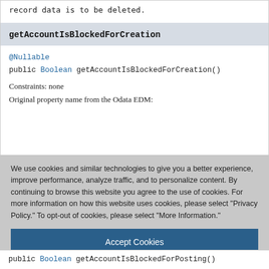record data is to be deleted.
getAccountIsBlockedForCreation
@Nullable
public Boolean getAccountIsBlockedForCreation()
Constraints: none
Original property name from the Odata EDM:
We use cookies and similar technologies to give you a better experience, improve performance, analyze traffic, and to personalize content. By continuing to browse this website you agree to the use of cookies. For more information on how this website uses cookies, please select "Privacy Policy." To opt-out of cookies, please select "More Information."
Accept Cookies
More Information
Privacy Policy | Powered by: TrustArc
public Boolean getAccountIsBlockedForPosting()